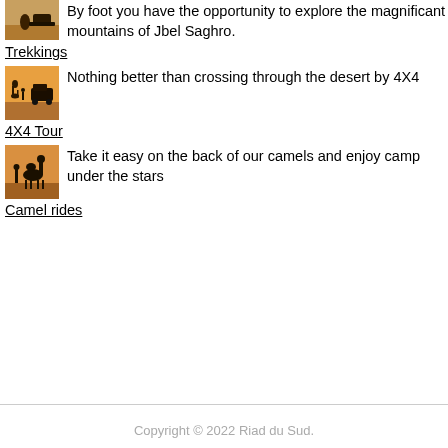By foot you have the opportunity to explore the magnificant mountains of Jbel Saghro.
Trekkings
[Figure (photo): Silhouette of a camel and a 4X4 vehicle in desert at sunset]
Nothing better than crossing through the desert by 4X4
4X4 Tour
[Figure (photo): Silhouette of a camel and a person in desert at sunset]
Take it easy on the back of our camels and enjoy camp under the stars
Camel rides
Copyright © 2022 Riad du Sud.